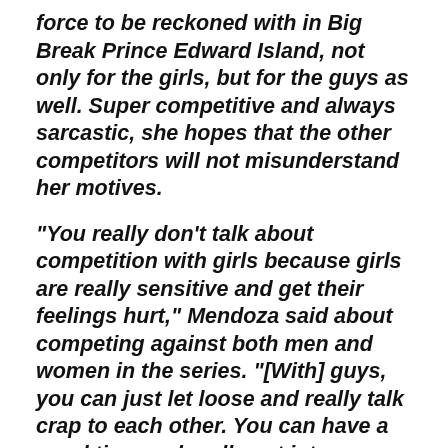force to be reckoned with in Big Break Prince Edward Island, not only for the girls, but for the guys as well. Super competitive and always sarcastic, she hopes that the other competitors will not misunderstand her motives.
"You really don't talk about competition with girls because girls are really sensitive and get their feelings hurt," Mendoza said about competing against both men and women in the series. "[With] guys, you can just let loose and really talk crap to each other. You can have a good time and really get into a competitive match.""